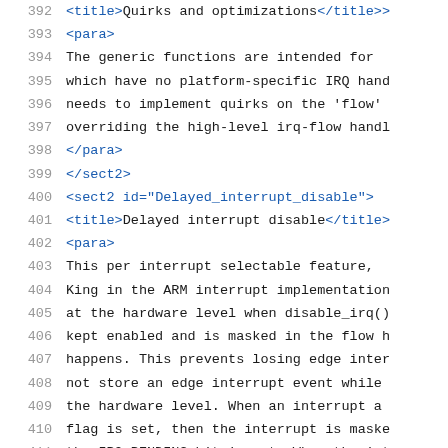392   <title>Quirks and optimizations</title>
393   <para>
394   The generic functions are intended for
395   which have no platform-specific IRQ hand
396   needs to implement quirks on the 'flow'
397   overriding the high-level irq-flow hand
398   </para>
399   </sect2>
400   <sect2 id="Delayed_interrupt_disable">
401   <title>Delayed interrupt disable</title>
402   <para>
403   This per interrupt selectable feature,
404   King in the ARM interrupt implementation
405   at the hardware level when disable_irq()
406   kept enabled and is masked in the flow h
407   happens. This prevents losing edge inte
408   not store an edge interrupt event while
409   the hardware level. When an interrupt a
410   flag is set, then the interrupt is mask
411   the IRQ_PENDING bit is set. When the in
412   enable_irq() the pending bit is checked